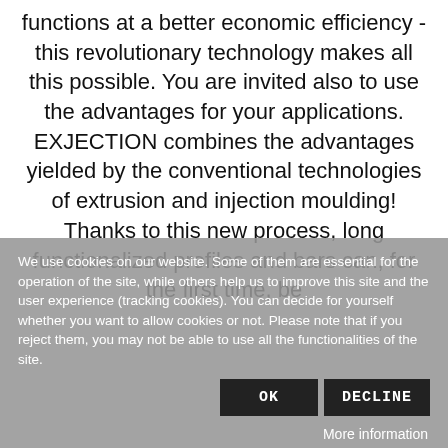functions at a better economic efficiency - this revolutionary technology makes all this possible. You are invited also to use the advantages for your applications. EXJECTION combines the advantages yielded by the conventional technologies of extrusion and injection moulding! Thanks to this new process, long functionalized profiles and bars can, for the first time, be
We use cookies on our website. Some of them are essential for the operation of the site, while others help us to improve this site and the user experience (tracking cookies). You can decide for yourself whether you want to allow cookies or not. Please note that if you reject them, you may not be able to use all the functionalities of the site.
OK
DECLINE
More information